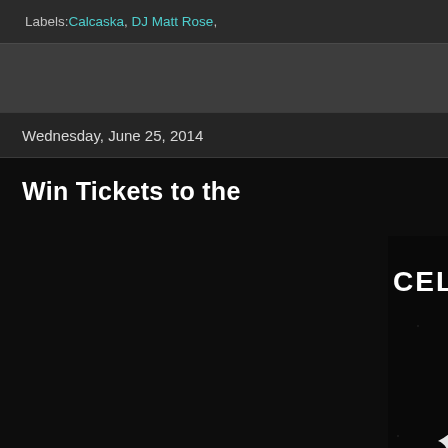Labels: Calcaska, DJ Matt Rose,
Wednesday, June 25, 2014
Win Tickets to the
[Figure (photo): Dark event promotional image with white text reading 'CELEBR...' and a white flame or bird graphic on dark/black background]